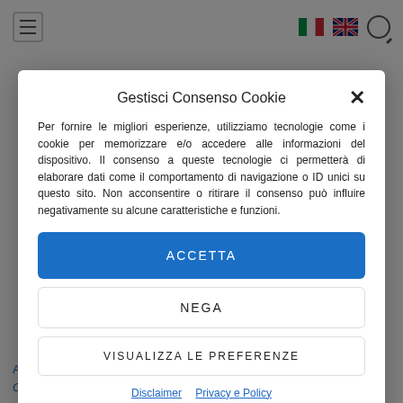Gestisci Consenso Cookie
Per fornire le migliori esperienze, utilizziamo tecnologie come i cookie per memorizzare e/o accedere alle informazioni del dispositivo. Il consenso a queste tecnologie ci permetterà di elaborare dati come il comportamento di navigazione o ID unici su questo sito. Non acconsentire o ritirare il consenso può influire negativamente su alcune caratteristiche e funzioni.
ACCETTA
NEGA
VISUALIZZA LE PREFERENZE
Disclaimer  Privacy e Policy
A study recently published in the prestigious Journal of the American Chemical Society has revealed the structural